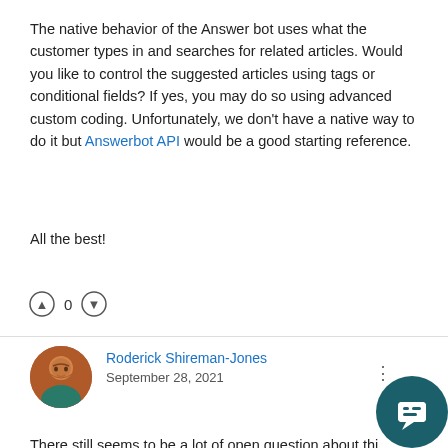The native behavior of the Answer bot uses what the customer types in and searches for related articles. Would you like to control the suggested articles using tags or conditional fields? If yes, you may do so using advanced custom coding. Unfortunately, we don't have a native way to do it but Answerbot API would be a good starting reference.
All the best!
[Figure (other): Voting row with thumbs up icon, count 0, thumbs down icon]
Roderick Shireman-Jones
September 28, 2021
There still seems to be a lot of open question about th... ugraded my account for additional options.